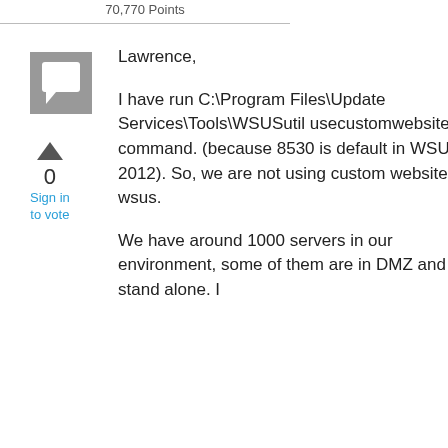70,770 Points
[Figure (illustration): Gray square avatar placeholder with a chat bubble icon]
0
Sign in to vote
Lawrence,
I have run C:\Program Files\Update Services\Tools\WSUSutil usecustomwebsite command. (because 8530 is default in WSUS 2012). So, we are not using custom website for wsus.
We have around 1000 servers in our environment, some of them are in DMZ and stand alone. I